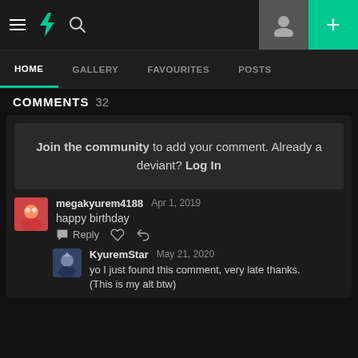DeviantArt navigation bar with logo, search, avatar and plus button
HOME | GALLERY | FAVOURITES | POSTS
COMMENTS 32
Join the community to add your comment. Already a deviant? Log In
megakyurem4188  Apr 1, 2019
happy birthday
KyuremStar  May 21, 2020
yo I just found this comment, very late thanks. (This is my alt btw)